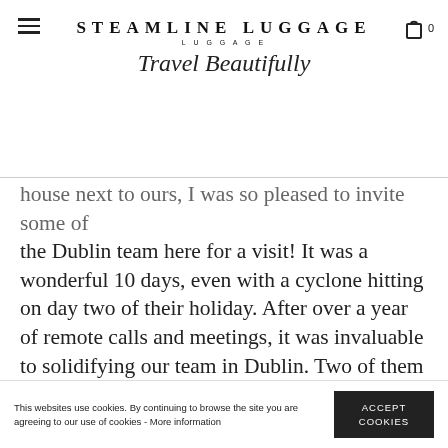STEAMLINE LUGGAGE — Travel Beautifully
house next to ours, I was so pleased to invite some of the Dublin team here for a visit! It was a wonderful 10 days, even with a cyclone hitting on day two of their holiday. After over a year of remote calls and meetings, it was invaluable to solidifying our team in Dublin. Two of them had never even met in person!
[Figure (photo): Blue sky with white clouds panoramic photo]
This websites use cookies. By continuing to browse the site you are agreeing to our use of cookies - More information | ACCEPT COOKIES